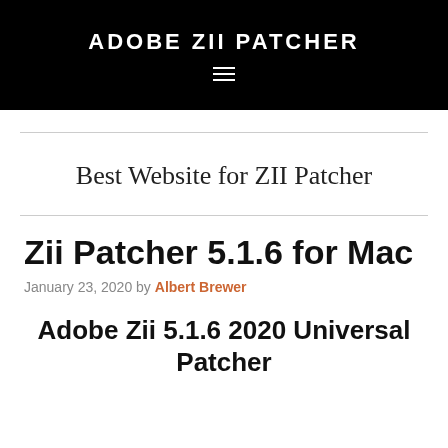ADOBE ZII PATCHER
Best Website for ZII Patcher
Zii Patcher 5.1.6 for Mac
January 23, 2020 by Albert Brewer
Adobe Zii 5.1.6 2020 Universal Patcher